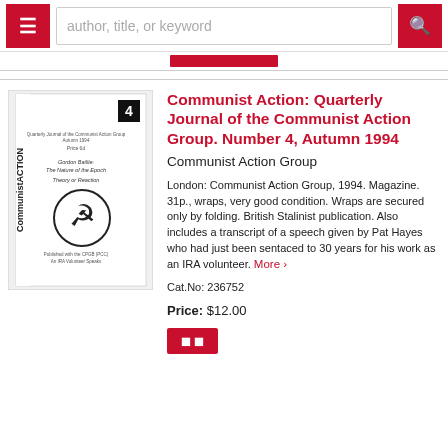author, title, or keyword
[Figure (photo): Cover image of 'Communist ACTION' magazine, Number 4, showing the masthead 'CommunistACTION', a number 4 in a black box, and a hammer-and-sickle emblem]
Communist Action: Quarterly Journal of the Communist Action Group. Number 4, Autumn 1994
Communist Action Group
London: Communist Action Group, 1994. Magazine. 31p., wraps, very good condition. Wraps are secured only by folding. British Stalinist publication. Also includes a transcript of a speech given by Pat Hayes who had just been sentaced to 30 years for his work as an IRA volunteer. More>
Cat.No: 236752
Price: $12.00